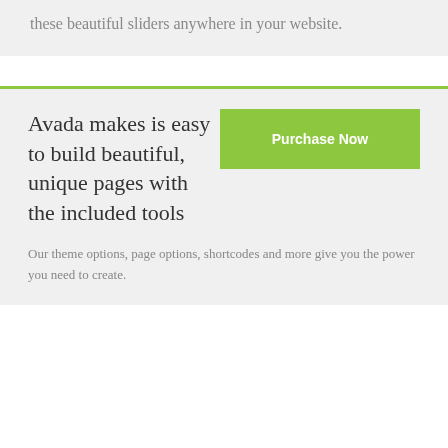these beautiful sliders anywhere in your website.
Avada makes is easy to build beautiful, unique pages with the included tools
Our theme options, page options, shortcodes and more give you the power you need to create.
[Figure (other): Green Purchase Now button]